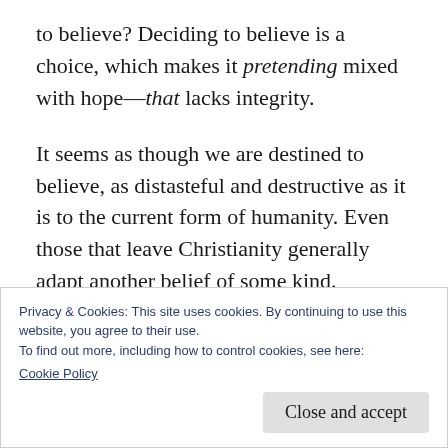to believe? Deciding to believe is a choice, which makes it pretending mixed with hope—that lacks integrity.
It seems as though we are destined to believe, as distasteful and destructive as it is to the current form of humanity. Even those that leave Christianity generally adapt another belief of some kind. Everyone wants a belief. To me, at this point that just seems weird (maybe I'm weird) but I believe nothing. There is no
Privacy & Cookies: This site uses cookies. By continuing to use this website, you agree to their use.
To find out more, including how to control cookies, see here: Cookie Policy